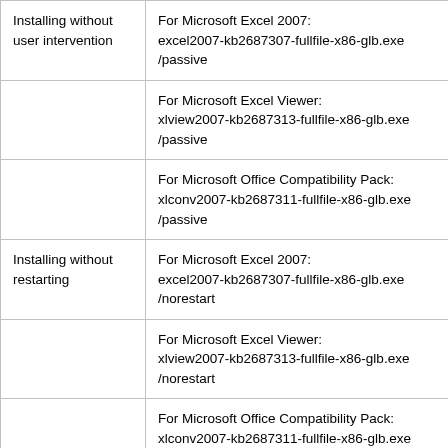| Installing without user intervention | For Microsoft Excel 2007:
excel2007-kb2687307-fullfile-x86-glb.exe /passive |
|  | For Microsoft Excel Viewer:
xlview2007-kb2687313-fullfile-x86-glb.exe /passive |
|  | For Microsoft Office Compatibility Pack:
xlconv2007-kb2687311-fullfile-x86-glb.exe /passive |
| Installing without restarting | For Microsoft Excel 2007:
excel2007-kb2687307-fullfile-x86-glb.exe /norestart |
|  | For Microsoft Excel Viewer:
xlview2007-kb2687313-fullfile-x86-glb.exe /norestart |
|  | For Microsoft Office Compatibility Pack:
xlconv2007-kb2687311-fullfile-x86-glb.exe |